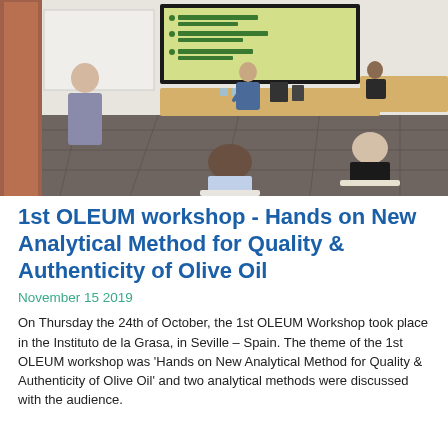[Figure (photo): Workshop room showing a presenter standing at the front near a projector screen displaying a slide, with participants seated around tables listening.]
1st OLEUM workshop - Hands on New Analytical Method for Quality & Authenticity of Olive Oil
November 15 2019
On Thursday the 24th of October, the 1st OLEUM Workshop took place in the Instituto de la Grasa, in Seville – Spain. The theme of the 1st OLEUM workshop was 'Hands on New Analytical Method for Quality & Authenticity of Olive Oil' and two analytical methods were discussed with the audience.